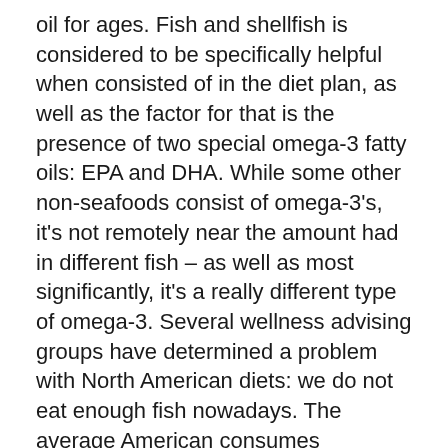oil for ages. Fish and shellfish is considered to be specifically helpful when consisted of in the diet plan, as well as the factor for that is the presence of two special omega-3 fatty oils: EPA and DHA. While some other non-seafoods consist of omega-3's, it's not remotely near the amount had in different fish – as well as most significantly, it's a really different type of omega-3. Several wellness advising groups have determined a problem with North American diets: we do not eat enough fish nowadays. The average American consumes approximately one fish dish each week.1 I typically consume zero fish meals each week!
Thankfully I found VitaPost Krill Oil Plus